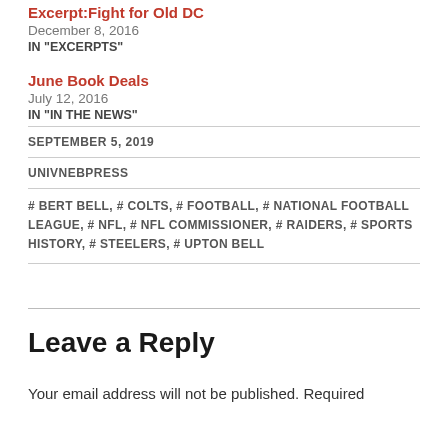Excerpt:Fight for Old DC
December 8, 2016
IN "EXCERPTS"
June Book Deals
July 12, 2016
IN "IN THE NEWS"
SEPTEMBER 5, 2019
UNIVNEBPRESS
# BERT BELL, # COLTS, # FOOTBALL, # NATIONAL FOOTBALL LEAGUE, # NFL, # NFL COMMISSIONER, # RAIDERS, # SPORTS HISTORY, # STEELERS, # UPTON BELL
Leave a Reply
Your email address will not be published. Required